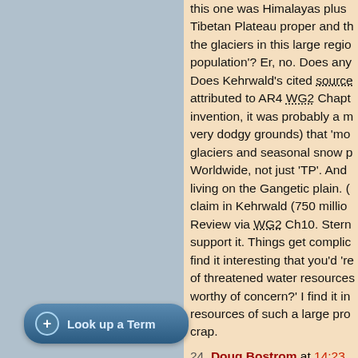this one was Himalayas plus Tibetan Plateau proper and the glaciers in this large region population'? Er, no. Does any Does Kehrwald's cited source attributed to AR4 WG2 Chapt invention, it was probably a m very dodgy grounds) that 'mo glaciers and seasonal snow p Worldwide, not just 'TP'. And living on the Gangetic plain. ( claim in Kehrwald (750 million Review via WG2 Ch10. Stern support it. Things get complic find it interesting that you'd 're of threatened water resources worthy of concern?' I find it in resources of such a large pro crap.
24. Doug Bostrom at 14:23 PM
Vinny Burgoo at 11:37 AM on any single component of a po that water needs to be availa given time is bounded by defi supply impacts based on the regional water supply is sourc certain times of the year the c
[Figure (other): Blue rounded rectangle button with a plus icon circle and text 'Look up a Term']